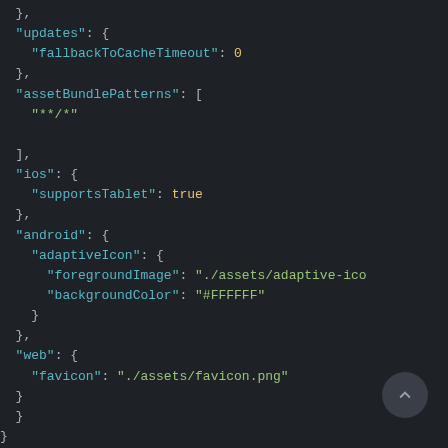JSON code snippet showing updates, assetBundlePatterns, ios, android, and web configuration fields
[Figure (other): Scroll-to-top button (dark circular button with upward arrow)]